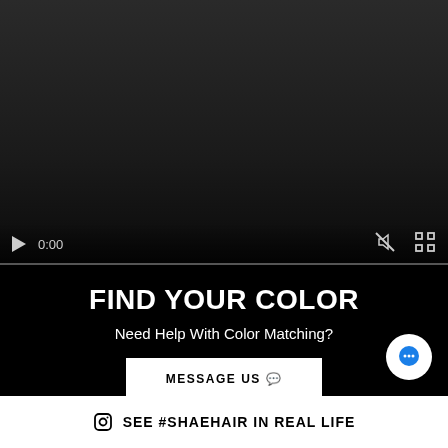[Figure (screenshot): Video player area with dark gradient background showing paused state at 0:00 with mute and fullscreen icons]
FIND YOUR COLOR
Need Help With Color Matching?
MESSAGE US 🗨
SEE #SHAEHAIR IN REAL LIFE